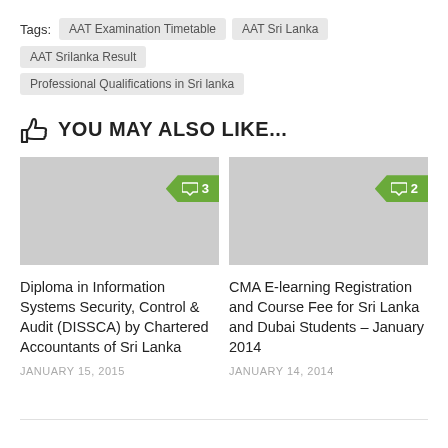Tags: AAT Examination Timetable  AAT Sri Lanka  AAT Srilanka Result  Professional Qualifications in Sri lanka
YOU MAY ALSO LIKE...
[Figure (other): Thumbnail placeholder image with green comment badge showing 3 comments]
[Figure (other): Thumbnail placeholder image with green comment badge showing 2 comments]
Diploma in Information Systems Security, Control & Audit (DISSCA) by Chartered Accountants of Sri Lanka
JANUARY 15, 2015
CMA E-learning Registration and Course Fee for Sri Lanka and Dubai Students – January 2014
JANUARY 14, 2014